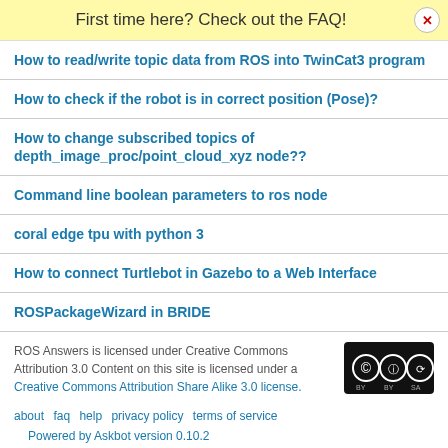First time here? Check out the FAQ!
How to read/write topic data from ROS into TwinCat3 program
How to check if the robot is in correct position (Pose)?
How to change subscribed topics of depth_image_proc/point_cloud_xyz node??
Command line boolean parameters to ros node
coral edge tpu with python 3
How to connect Turtlebot in Gazebo to a Web Interface
ROSPackageWizard in BRIDE
ROS Answers is licensed under Creative Commons Attribution 3.0 Content on this site is licensed under a Creative Commons Attribution Share Alike 3.0 license.
about   faq   help   privacy policy   terms of service
Powered by Askbot version 0.10.2